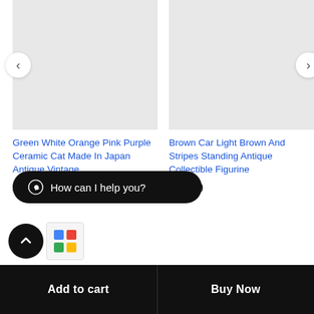[Figure (photo): Product image placeholder - light gray background, left product card]
[Figure (photo): Product image placeholder - light gray background, right product card]
Green White Orange Pink Purple Ceramic Cat Made In Japan Antique Vintage
$11.50
Brown Car Light Brown And Stripes Standing Antique Collectible Figurine
$11.10
How can I help you?
Add to cart
Buy Now